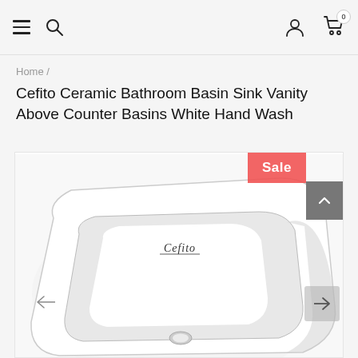Navigation bar with hamburger menu, search icon, user icon, cart icon (0 items)
Home /
Cefito Ceramic Bathroom Basin Sink Vanity Above Counter Basins White Hand Wash
[Figure (photo): White ceramic above-counter bathroom basin sink with 'Cefito' branding shown on the front. The basin has rounded rectangular shape and a drain hole visible at the bottom center. A red 'Sale' badge appears in the top right corner. Navigation arrows appear on left and right sides of the image.]